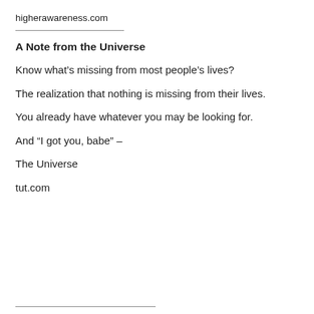higherawareness.com
A Note from the Universe
Know what’s missing from most people’s lives?
The realization that nothing is missing from their lives.
You already have whatever you may be looking for.
And “I got you, babe” –
The Universe
tut.com